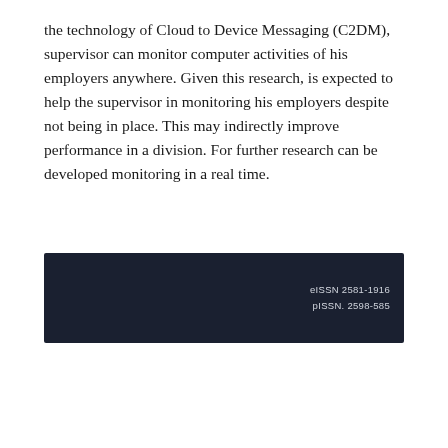the technology of Cloud to Device Messaging (C2DM), supervisor can monitor computer activities of his employers anywhere. Given this research, is expected to help the supervisor in monitoring his employers despite not being in place. This may indirectly improve performance in a division. For further research can be developed monitoring in a real time.
eISSN 2581-1916
pISSN. 2598-585